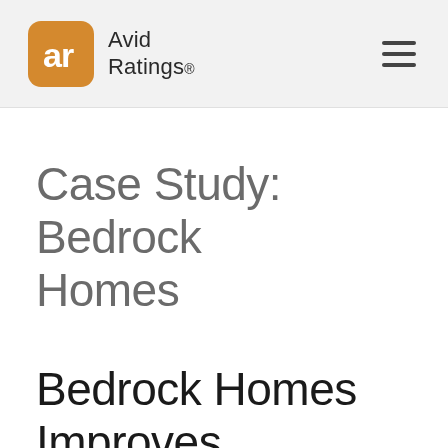[Figure (logo): Avid Ratings logo: orange rounded square with 'ar' monogram in white, followed by text 'Avid Ratings.' in dark gray]
Case Study: Bedrock Homes
Bedrock Homes Improves Customer